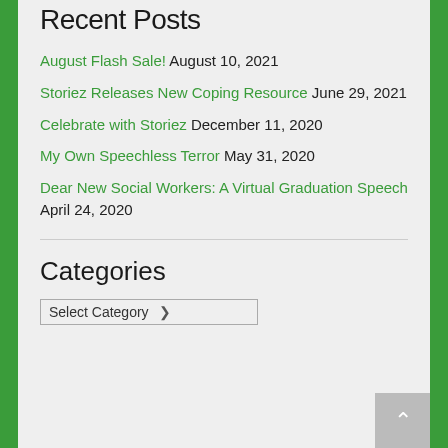Recent Posts
August Flash Sale! August 10, 2021
Storiez Releases New Coping Resource June 29, 2021
Celebrate with Storiez December 11, 2020
My Own Speechless Terror May 31, 2020
Dear New Social Workers: A Virtual Graduation Speech April 24, 2020
Categories
Select Category